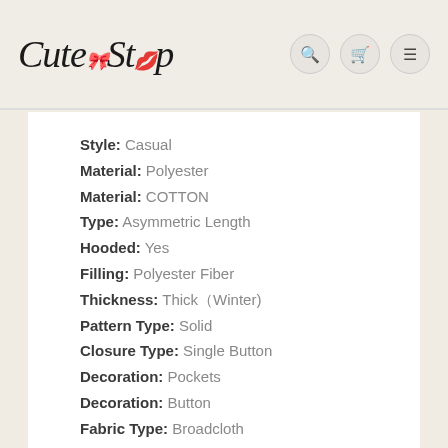CuteStop
Style: Casual
Material: Polyester
Material: COTTON
Type: Asymmetric Length
Hooded: Yes
Filling: Polyester Fiber
Thickness: Thick（Winter)
Pattern Type: Solid
Closure Type: Single Button
Decoration: Pockets
Decoration: Button
Fabric Type: Broadcloth
Gender: Women
Color